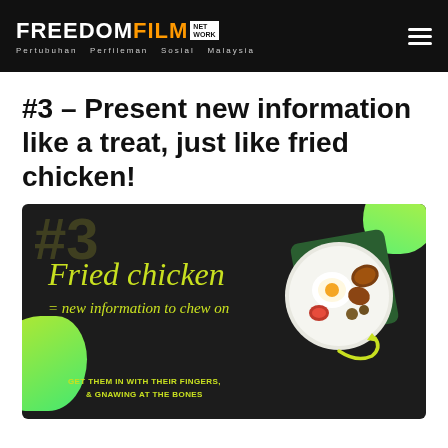FREEDOM FILM NETWORK — Pertubuhan Perfileman Sosial Malaysia
#3 – Present new information like a treat, just like fried chicken!
[Figure (illustration): Dark-background promotional graphic with '#3' watermark, cursive text reading 'Fried chicken = new information to chew on', bold text 'GET THEM IN WITH THEIR FINGERS, & GNAWING AT THE BONES', a plate illustration with nasi lemak/fried chicken food items, and green blob shapes in corners.]